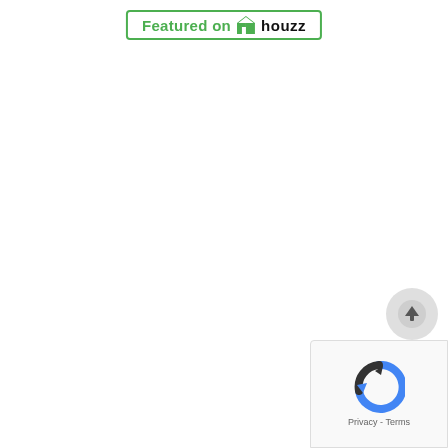[Figure (logo): Featured on Houzz badge — green bordered rectangle with house icon and text 'Featured on houzz' in green and black]
[Figure (other): Circular scroll-to-top button with upward arrow icon]
[Figure (other): reCAPTCHA widget box with spinning arrow logo and Privacy - Terms text]